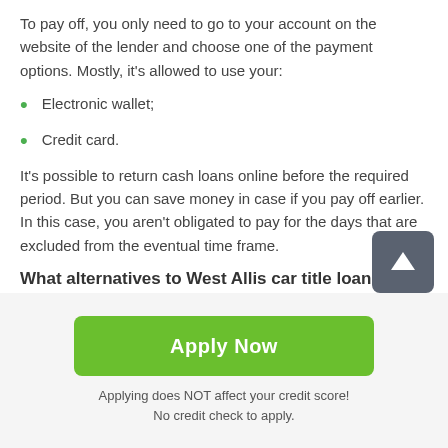To pay off, you only need to go to your account on the website of the lender and choose one of the payment options. Mostly, it's allowed to use your:
Electronic wallet;
Credit card.
It's possible to return cash loans online before the required period. But you can save money in case if you pay off earlier. In this case, you aren't obligated to pay for the days that are excluded from the eventual time frame.
What alternatives to West Allis car title loans do need to obviate?
Apply Now
Applying does NOT affect your credit score!
No credit check to apply.